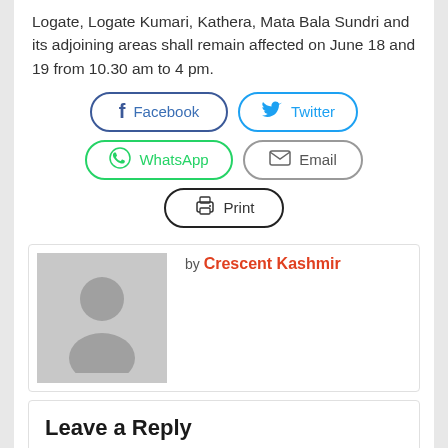Logate, Logate Kumari, Kathera, Mata Bala Sundri and its adjoining areas shall remain affected on June 18 and 19 from 10.30 am to 4 pm.
[Figure (other): Social share buttons: Facebook, Twitter, WhatsApp, Email, Print]
[Figure (photo): Author avatar placeholder with silhouette icon, byline: by Crescent Kashmir]
Leave a Reply
Your email address will not be published. Required fields are marked